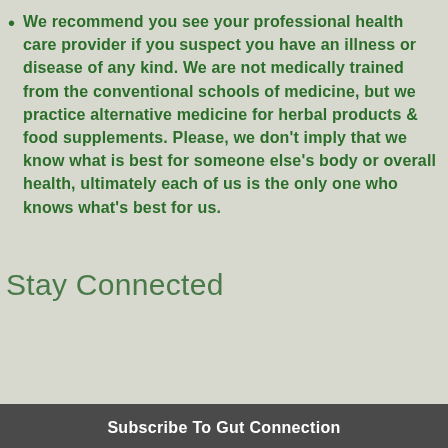We recommend you see your professional health care provider if you suspect you have an illness or disease of any kind. We are not medically trained from the conventional schools of medicine, but we practice alternative medicine for herbal products & food supplements. Please, we don't imply that we know what is best for someone else's body or overall health, ultimately each of us is the only one who knows what's best for us.
Stay Connected
Email
Subscribe To Gut Connection
Privacy & Cookies Policy